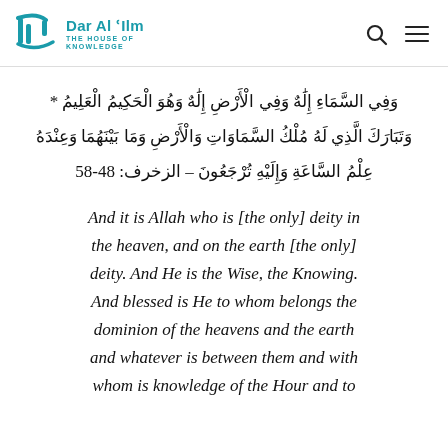[Figure (logo): Dar Al Ilm - The House of Knowledge logo with teal Arabic calligraphy icon and teal text]
وَفِي السَّمَاءِ إِلَٰهٌ وَفِي الْأَرْضِ إِلَٰهٌ وَهُوَ الْحَكِيمُ الْعَلِيمُ * وَتَبَارَكَ الَّذِي لَهُ مُلْكُ السَّمَاوَاتِ وَالْأَرْضِ وَمَا بَيْنَهُمَا وَعِنْدَهُ عِلْمُ السَّاعَةِ وَإِلَيْهِ تُرْجَعُونَ – الزخرف: 84-85
And it is Allah who is [the only] deity in the heaven, and on the earth [the only] deity. And He is the Wise, the Knowing. And blessed is He to whom belongs the dominion of the heavens and the earth and whatever is between them and with whom is knowledge of the Hour and to